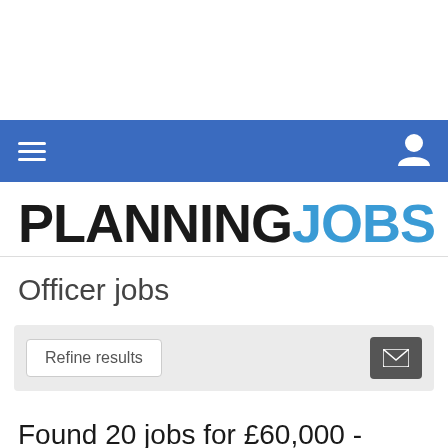PLANNING JOBS
Officer jobs
Refine results
Found 20 jobs for £60,000 - £69,999